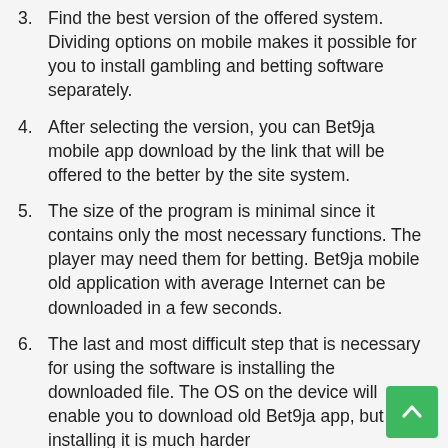3. Find the best version of the offered system. Dividing options on mobile makes it possible for you to install gambling and betting software separately.
4. After selecting the version, you can Bet9ja mobile app download by the link that will be offered to the better by the site system.
5. The size of the program is minimal since it contains only the most necessary functions. The player may need them for betting. Bet9ja mobile old application with average Internet can be downloaded in a few seconds.
6. The last and most difficult step that is necessary for using the software is installing the downloaded file. The OS on the device will enable you to download old Bet9ja app, but installing it is much harder...